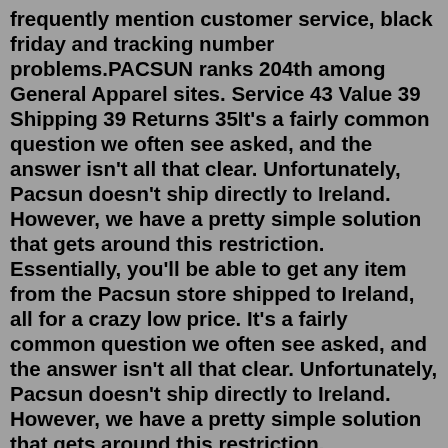frequently mention customer service, black friday and tracking number problems.PACSUN ranks 204th among General Apparel sites. Service 43 Value 39 Shipping 39 Returns 35It's a fairly common question we often see asked, and the answer isn't all that clear. Unfortunately, Pacsun doesn't ship directly to Ireland. However, we have a pretty simple solution that gets around this restriction. Essentially, you'll be able to get any item from the Pacsun store shipped to Ireland, all for a crazy low price. It's a fairly common question we often see asked, and the answer isn't all that clear. Unfortunately, Pacsun doesn't ship directly to Ireland. However, we have a pretty simple solution that gets around this restriction. Essentially, you'll be able to get any item from the Pacsun store shipped to Ireland, all for a crazy low price. 1 day ago · Amazon's partnering with a selection of typical mall stores to offer free same-day deliveries for Prime members. The company is currently offering deliveries from PacSun, GNC, Diesel, and Superdry.